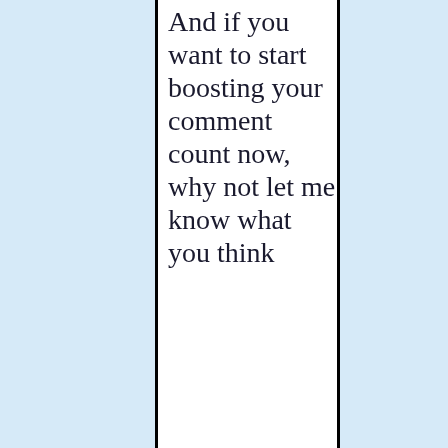And if you want to start boosting your comment count now, why not let me know what you think